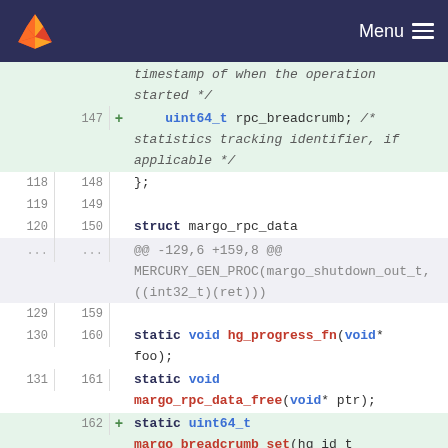[Figure (screenshot): GitLab navigation header with logo and Menu button]
timestamp of when the operation started */
147  +    uint64_t rpc_breadcrumb; /* statistics tracking identifier, if applicable */
118  148    };
119  149
120  150    struct margo_rpc_data
...  ...    @@ -129,6 +159,8 @@ MERCURY_GEN_PROC(margo_shutdown_out_t, ((int32_t)(ret)))
129  159
130  160    static void hg_progress_fn(void* foo);
131  161    static void margo_rpc_data_free(void* ptr);
162  +  static uint64_t margo_breadcrumb_set(hg_id_t rpc_id);
163  +  static void margo_breadcrumb_measure(margo_insta